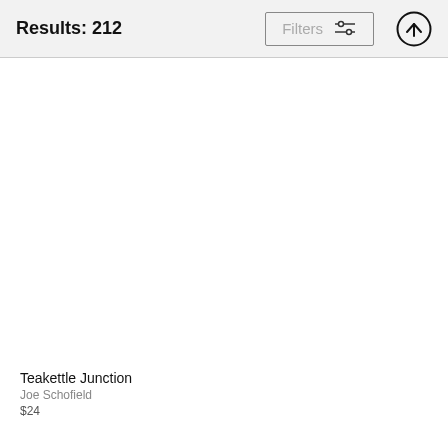Results: 212
Filters
Teakettle Junction
Joe Schofield
$24